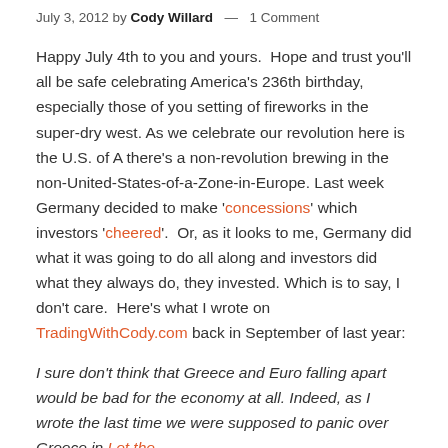July 3, 2012 by Cody Willard — 1 Comment
Happy July 4th to you and yours.  Hope and trust you'll all be safe celebrating America's 236th birthday, especially those of you setting of fireworks in the super-dry west. As we celebrate our revolution here is the U.S. of A there's a non-revolution brewing in the non-United-States-of-a-Zone-in-Europe. Last week Germany decided to make 'concessions' which investors 'cheered'.  Or, as it looks to me, Germany did what it was going to do all along and investors did what they always do, they invested. Which is to say, I don't care.  Here's what I wrote on TradingWithCody.com back in September of last year:
I sure don't think that Greece and Euro falling apart would be bad for the economy at all. Indeed, as I wrote the last time we were supposed to panic over Greece in Let the...